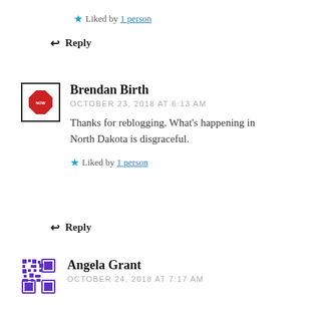★ Liked by 1 person
↩ Reply
Brendan Birth
OCTOBER 23, 2018 AT 6:13 AM
Thanks for reblogging. What's happening in North Dakota is disgraceful.
★ Liked by 1 person
↩ Reply
Angela Grant
OCTOBER 24, 2018 AT 7:17 AM